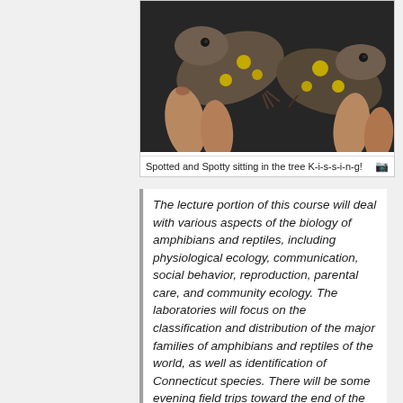[Figure (photo): Close-up photograph of two spotted salamanders (Ambystoma maculatum) with yellow spots on dark brown/grey skin, being held by human hands against a dark background.]
Spotted and Spotty sitting in the tree K-i-s-s-i-n-g!
The lecture portion of this course will deal with various aspects of the biology of amphibians and reptiles, including physiological ecology, communication, social behavior, reproduction, parental care, and community ecology. The laboratories will focus on the classification and distribution of the major families of amphibians and reptiles of the world, as well as identification of Connecticut species. There will be some evening field trips toward the end of the